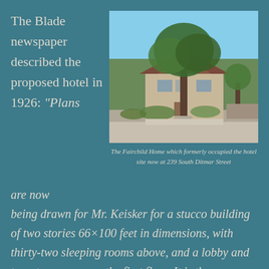The Blade newspaper described the proposed hotel in 1926: “Plans
[Figure (photo): Photo of the Fairchild Home, a craftsman-style house with a large tree in front, at 239 South Ditmar Street]
The Fairchild Home which formerly occupied the hotel site now at 239 South Ditmar Street
are now being drawn for Mr. Keisker for a stucco building of two stories 66×100 feet in dimensions, with thirty-two sleeping rooms above, and a lobby and two store rooms on the first floor. It is the expectation that very shortly